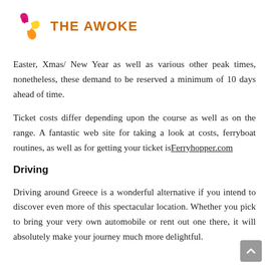[Figure (logo): The Awoke website logo: a circular swirl icon in pink/orange/yellow beside the text 'THE AWOKE' in orange uppercase letters]
Easter, Xmas/ New Year as well as various other peak times, nonetheless, these demand to be reserved a minimum of 10 days ahead of time.
Ticket costs differ depending upon the course as well as on the range. A fantastic web site for taking a look at costs, ferryboat routines, as well as for getting your ticket is Ferryhopper.com
Driving
Driving around Greece is a wonderful alternative if you intend to discover even more of this spectacular location. Whether you pick to bring your very own automobile or rent out one there, it will absolutely make your journey much more delightful.